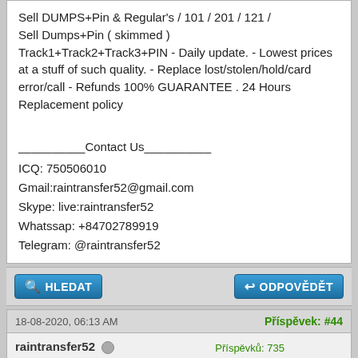Sell DUMPS+Pin & Regular's / 101 / 201 / 121 / Sell Dumps+Pin ( skimmed ) Track1+Track2+Track3+PIN - Daily update. - Lowest prices at a stuff of such quality. - Replace lost/stolen/hold/card error/call - Refunds 100% GUARANTEE . 24 Hours Replacement policy
__________Contact Us__________ ICQ: 750506010 Gmail:raintransfer52@gmail.com Skype: live:raintransfer52 Whatssap: +84702789919 Telegram: @raintransfer52
HLEDAT | ODPOVĚDĚT
18-08-2020, 06:13 AM | Příspěvek: #44
raintransfer52 Senior Member ★★★★ | Příspěvků: 735 Připojen(a): Mar 2020 Přidat uživateli hodnocení 0
RE: BEST BUSINESS 2020-SELL CVV GOOD BALANCE /TRANSFER WESTERN UNION CONTACT
How Cashapp Transfer works